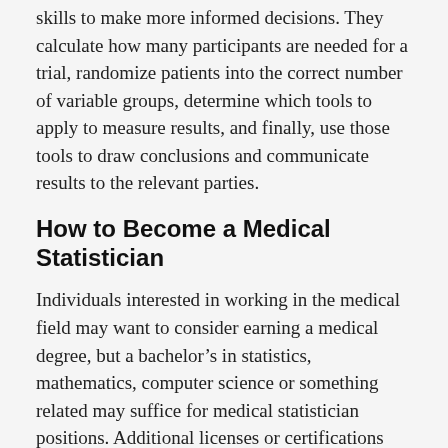skills to make more informed decisions. They calculate how many participants are needed for a trial, randomize patients into the correct number of variable groups, determine which tools to apply to measure results, and finally, use those tools to draw conclusions and communicate results to the relevant parties.
How to Become a Medical Statistician
Individuals interested in working in the medical field may want to consider earning a medical degree, but a bachelor's in statistics, mathematics, computer science or something related may suffice for medical statistician positions. Additional licenses or certifications may not be necessary for this job, but could be viewed as a plus by potential employers.
Similar Jobs to Statistician
Similar career options to statisticians include data scientist,